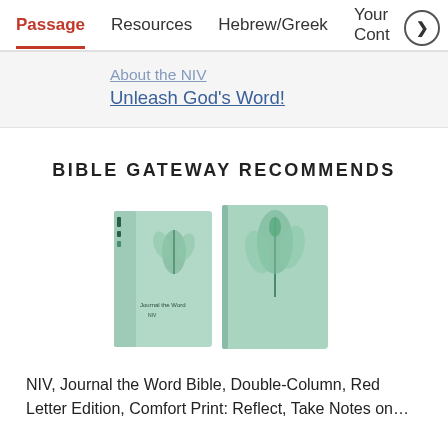Passage | Resources | Hebrew/Greek | Your Cont…
About the NIV
Unleash God's Word!
BIBLE GATEWAY RECOMMENDS
[Figure (photo): Two mint green Bible books side by side — one paperback with a spine and one hardcover with botanical illustration on cover]
NIV, Journal the Word Bible, Double-Column, Red Letter Edition, Comfort Print: Reflect, Take Notes on…